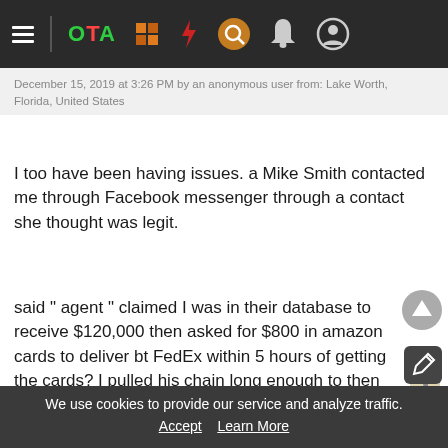OTA [navigation bar with icons]
December 15, 2019 at 3:26 PM by an anonymous user from: Lake Worth, Florida, United States
I too have been having issues. a Mike Smith contacted me through Facebook messenger through a contact she thought was legit.
said " agent " claimed I was in their database to receive $120,000 then asked for $800 in amazon cards to deliver bt FedEx within 5 hours of getting the cards? I pulled his chain long enough to then find out when was so called en route it was confiscated by IRS agents that wanted $4500 to release it,okay,red flag number 2 or three,my friend
talked me into the amazon cards that are proving diffic...
We use cookies to provide our service and analyze traffic. Accept  Learn More